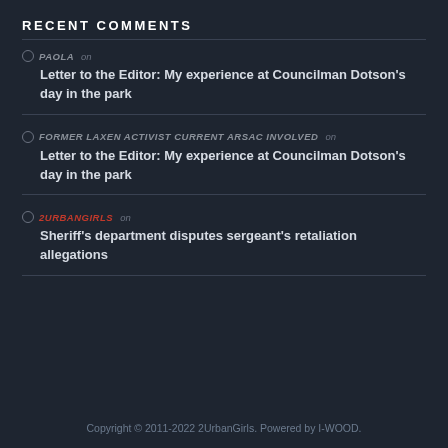RECENT COMMENTS
PAOLA on Letter to the Editor: My experience at Councilman Dotson’s day in the park
FORMER LAXEN ACTIVIST CURRENT ARSAC INVOLVED on Letter to the Editor: My experience at Councilman Dotson’s day in the park
2URBANGIRLS on Sheriff’s department disputes sergeant’s retaliation allegations
Copyright © 2011-2022 2UrbanGirls. Powered by I-WOOD.